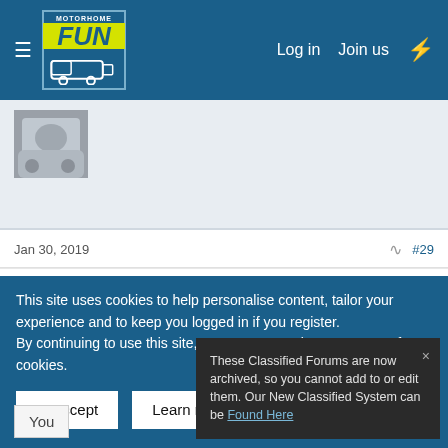Log in   Join us
[Figure (screenshot): Avatar thumbnail of a motorhome/campervan]
Jan 30, 2019   #29
Would a kind funster who lives nearby have a quick look at it, could be a good bargain for someone or could be a pile of rubbish.
These Classified Forums are now archived, so you cannot add to or edit them. Our New Classified System can be Found Here
This site uses cookies to help personalise content, tailor your experience and to keep you logged in if you register.
By continuing to use this site, you are consenting to our use of cookies.
✓ Accept   Learn more…